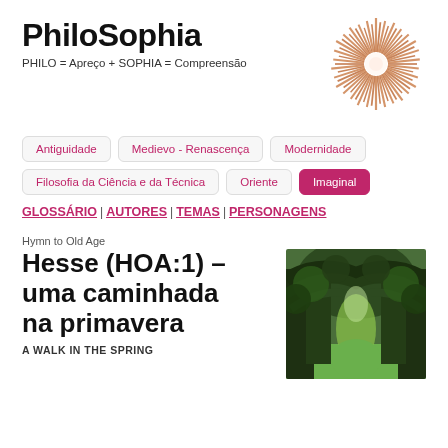PhiloSophia
PHILO = Apreço + SOPHIA = Compreensão
[Figure (illustration): Sunburst / radial pattern logo with peach/beige spikes radiating from a bright center, on white background]
Antiguidade
Medievo - Renascença
Modernidade
Filosofia da Ciência e da Técnica
Oriente
Imaginal
GLOSSÁRIO | AUTORES | TEMAS | PERSONAGENS
Hymn to Old Age
Hesse (HOA:1) – uma caminhada na primavera
A WALK IN THE SPRING
[Figure (photo): Photo of a tree-lined avenue with large oak trees arching overhead, green grass below, sunlight filtering through]